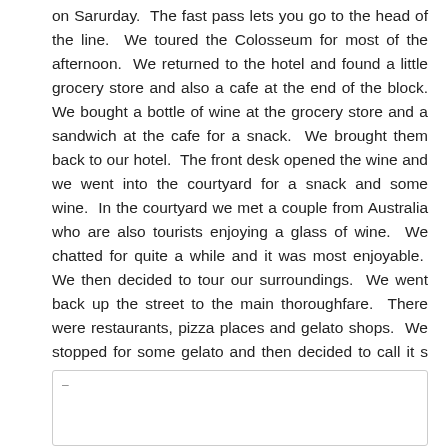on Sarurday.  The fast pass lets you go to the head of the line.  We toured the Colosseum for most of the afternoon.  We returned to the hotel and found a little grocery store and also a cafe at the end of the block. We bought a bottle of wine at the grocery store and a sandwich at the cafe for a snack.  We brought them back to our hotel.  The front desk opened the wine and we went into the courtyard for a snack and some wine.  In the courtyard we met a couple from Australia who are also tourists enjoying a glass of wine.  We chatted for quite a while and it was most enjoyable.  We then decided to tour our surroundings.  We went back up the street to the main thoroughfare.  There were restaurants, pizza places and gelato shops.  We stopped for some gelato and then decided to call it s night.  We were glad to finally have a bed.
[Figure (other): A blank rectangular box with a small dash in the upper-left corner, likely a placeholder or image area.]